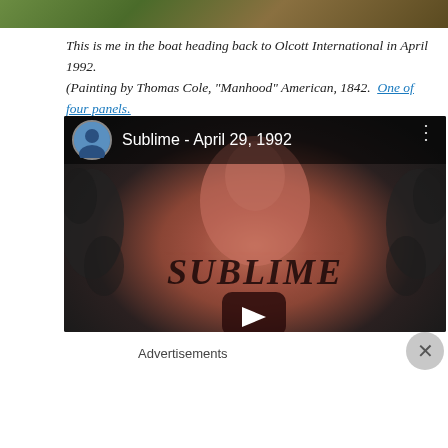[Figure (photo): Partial view of a painting — dark landscape with stormy sky, top portion only visible]
This is me in the boat heading back to Olcott International in April 1992.
(Painting by Thomas Cole, "Manhood" American, 1842.  One of four panels.
[Figure (screenshot): YouTube video thumbnail showing a person's back with SUBLIME tattooed on it, titled 'Sublime - April 29, 1992', with a play button overlay and user avatar in the header]
Advertisements
[Figure (other): WordPress.com advertisement banner: 'Simplified pricing for everything you need.' with WordPress.com logo]